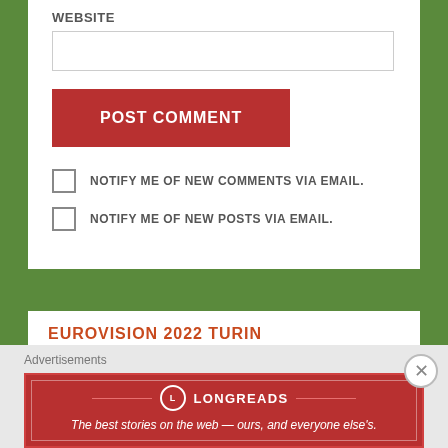WEBSITE
POST COMMENT
NOTIFY ME OF NEW COMMENTS VIA EMAIL.
NOTIFY ME OF NEW POSTS VIA EMAIL.
EUROVISION 2022 TURIN
ESC FINALS 2022
May 14, 2022
Advertisements
[Figure (infographic): Longreads advertisement banner: red background with Longreads logo and tagline 'The best stories on the web — ours, and everyone else's.']